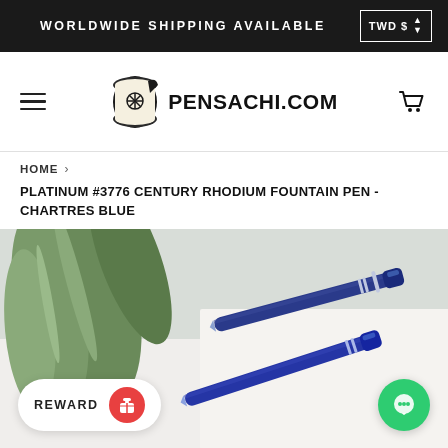WORLDWIDE SHIPPING AVAILABLE   TWD $
[Figure (logo): Pensachi.com logo with a scroll/pen icon and hamburger menu and cart icon navigation bar]
HOME ›
PLATINUM #3776 CENTURY RHODIUM FOUNTAIN PEN - CHARTRES BLUE
[Figure (photo): Close-up photo of two blue Platinum #3776 Century Rhodium fountain pens resting on a white surface with green leaves in the background]